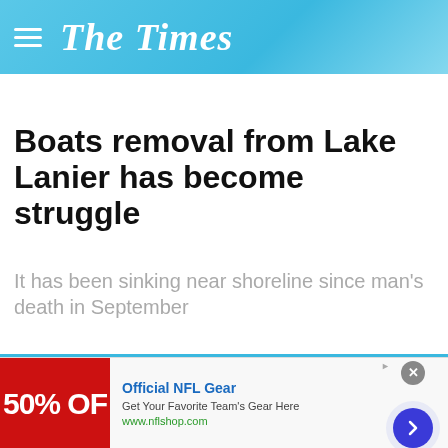The Times
Boats removal from Lake Lanier has become struggle
It has been sinking near shoreline since man's death in September
[Figure (infographic): Advertisement banner for Official NFL Gear showing 50% OFF red banner, text 'Official NFL Gear - Get Your Favorite Team's Gear Here - www.nflshop.com', close button, and arrow navigation button]